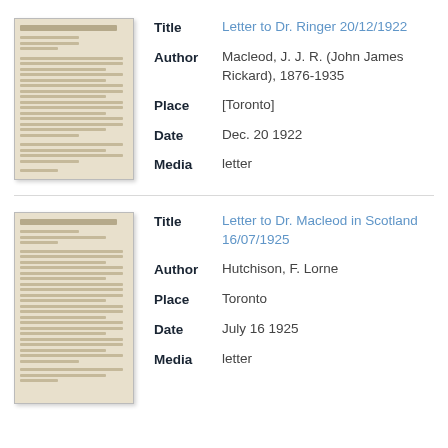[Figure (photo): Thumbnail image of a typed letter document, aged paper, faded text lines visible]
| Title | Letter to Dr. Ringer 20/12/1922 |
| Author | Macleod, J. J. R. (John James Rickard), 1876-1935 |
| Place | [Toronto] |
| Date | Dec. 20 1922 |
| Media | letter |
[Figure (photo): Thumbnail image of a typed letter document, aged paper, faded text lines visible]
| Title | Letter to Dr. Macleod in Scotland 16/07/1925 |
| Author | Hutchison, F. Lorne |
| Place | Toronto |
| Date | July 16 1925 |
| Media | letter |